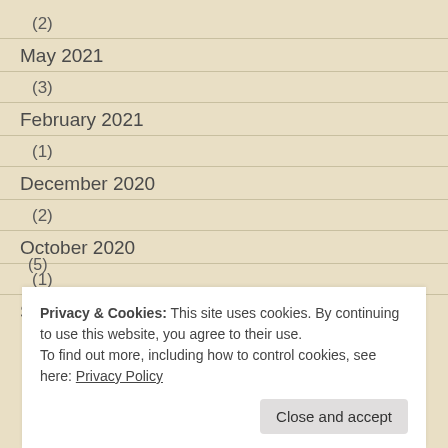(2)
May 2021
(3)
February 2021
(1)
December 2020
(2)
October 2020
(1)
September 2020
Privacy & Cookies: This site uses cookies. By continuing to use this website, you agree to their use.
To find out more, including how to control cookies, see here: Privacy Policy
(5)